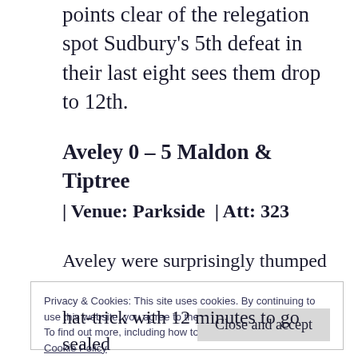points clear of the relegation spot Sudbury's 5th defeat in their last eight sees them drop to 12th.
Aveley 0 – 5 Maldon & Tiptree
| Venue: Parkside | Att: 323
Aveley were surprisingly thumped by the Jammers at Parkside. Chris Millar set the
Privacy & Cookies: This site uses cookies. By continuing to use this website, you agree to their use.
To find out more, including how to control cookies, see here:
Cookie Policy
Close and accept
hat-trick with 12 minutes to go sealed